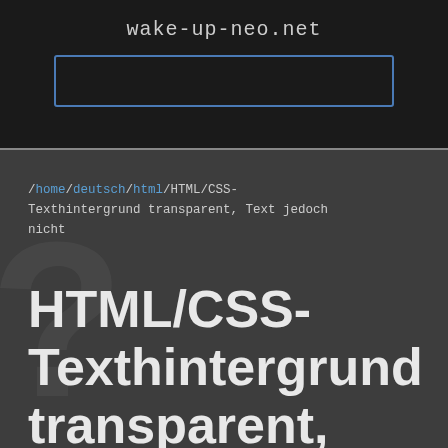wake-up-neo.net
/home/deutsch/html/HTML/CSS-Texthintergrund transparent, Text jedoch nicht
HTML/CSS-Texthintergrund transparent, Text jedoch nicht